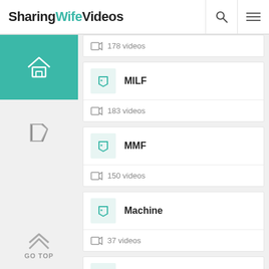SharingWifeVideos
178 videos
MILF – 183 videos
MMF – 150 videos
Machine – 37 videos
Maid – 93 videos